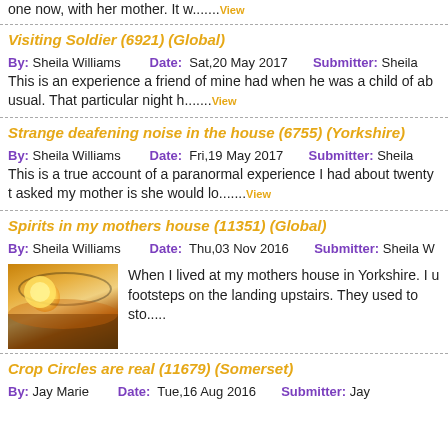one now, with her mother. It w.......View
Visiting Soldier (6921) (Global)
By: Sheila Williams   Date: Sat,20 May 2017   Submitter: Sheila
This is an experience a friend of mine had when he was a child of ab usual. That particular night h.......View
Strange deafening noise in the house (6755) (Yorkshire)
By: Sheila Williams   Date: Fri,19 May 2017   Submitter: Sheila
This is a true account of a paranormal experience I had about twenty t asked my mother is she would lo.......View
Spirits in my mothers house (11351) (Global)
By: Sheila Williams   Date: Thu,03 Nov 2016   Submitter: Sheila W
[Figure (photo): Thumbnail image showing a sunset or mystical landscape with glowing orange sky]
When I lived at my mothers house in Yorkshire. I u footsteps on the landing upstairs. They used to sto.....
Crop Circles are real (11679) (Somerset)
By: Jay Marie   Date: Tue,16 Aug 2016   Submitter: Jay